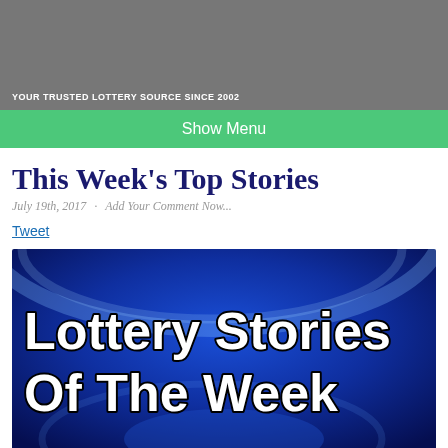YOUR TRUSTED LOTTERY SOURCE SINCE 2002
Show Menu
This Week's Top Stories
July 19th, 2017 · Add Your Comment Now...
Tweet
[Figure (photo): Banner image with blue broadcast-studio-style background and large white bold text reading 'Lottery Stories Of The Week']